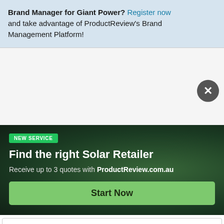Brand Manager for Giant Power? Register now and take advantage of ProductReview's Brand Management Platform!
[Figure (screenshot): White/gray area with a dark circular close button (X) in the top-right area]
[Figure (infographic): Dark green solar retailer advertisement banner with 'NEW SERVICE' badge, title 'Find the right Solar Retailer', subtitle 'Receive up to 3 quotes with ProductReview.com.au', and a green 'Start Now' button]
[Figure (screenshot): White box with light border at the bottom of the page]